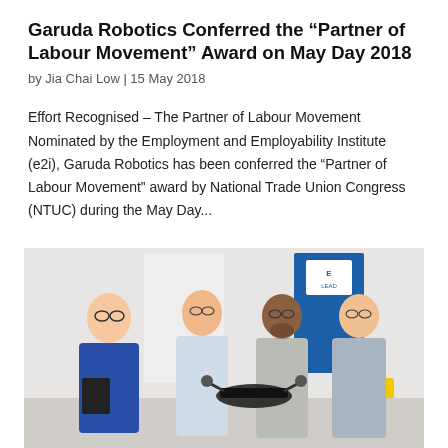Garuda Robotics Conferred the “Partner of Labour Movement” Award on May Day 2018
by Jia Chai Low | 15 May 2018
Effort Recognised – The Partner of Labour Movement Nominated by the Employment and Employability Institute (e2i), Garuda Robotics has been conferred the “Partner of Labour Movement” award by National Trade Union Congress (NTUC) during the May Day...
[Figure (photo): Four men posing together, one holding a drone, in front of banners including one that reads LEAD. The men are dressed in business attire.]